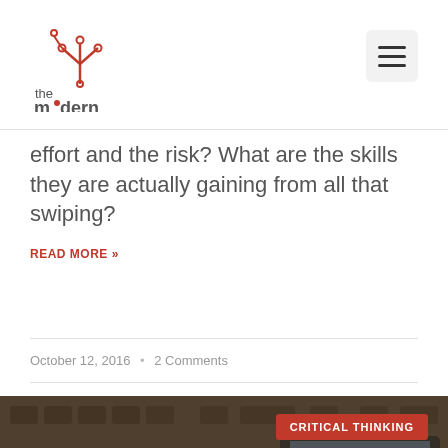[Figure (logo): The Modern Parent logo — red circuit-tree icon with text 'the modern PARENT']
effort and the risk? What are the skills they are actually gaining from all that swiping?
READ MORE »
October 12, 2016  •  2 Comments
[Figure (photo): Hands using a tablet/keyboard device, with an orange overlay panel reading 'ARE WE ADDICTED TO TECHNOLOGY? OR SHOULD WE CHANGE THE RHETORIC?' and a red 'CRITICAL THINKING' badge]